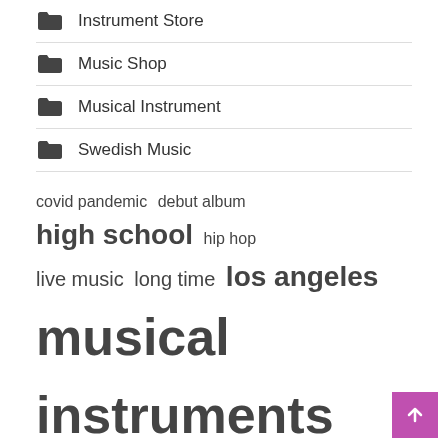Instrument Store
Music Shop
Musical Instrument
Swedish Music
[Figure (infographic): Tag cloud with terms: covid pandemic, debut album, high school (large), hip hop, live music, long time, los angeles (large), musical instruments (very large), music group (small), music industry (medium), music store (large), music video (small), rock roll (small), singer songwriter (medium), united states (very large)]